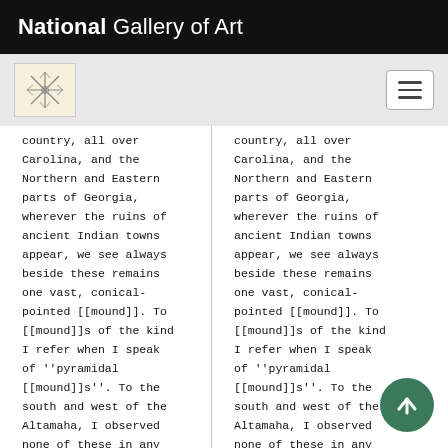National Gallery of Art
country, all over Carolina, and the Northern and Eastern parts of Georgia, wherever the ruins of ancient Indian towns appear, we see always beside these remains one vast, conical-pointed [[mound]]. To [[mound]]s of the kind I refer when I speak of ''pyramidal [[mound]]s''. To the south and west of the Altamaha, I observed none of these in any
country, all over Carolina, and the Northern and Eastern parts of Georgia, wherever the ruins of ancient Indian towns appear, we see always beside these remains one vast, conical-pointed [[mound]]. To [[mound]]s of the kind I refer when I speak of ''pyramidal [[mound]]s''. To the south and west of the Altamaha, I observed none of these in any